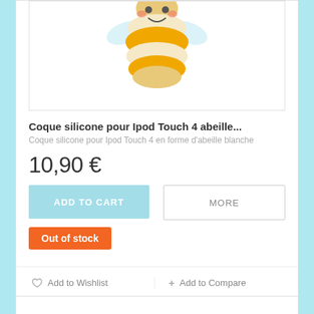[Figure (illustration): Cartoon bee illustration with yellow and white stripes, visible at the top of the product card.]
Coque silicone pour Ipod Touch 4 abeille...
Coque silicone pour Ipod Touch 4 en forme d'abeille blanche
10,90 €
ADD TO CART
MORE
Out of stock
♡ Add to Wishlist
+ Add to Compare